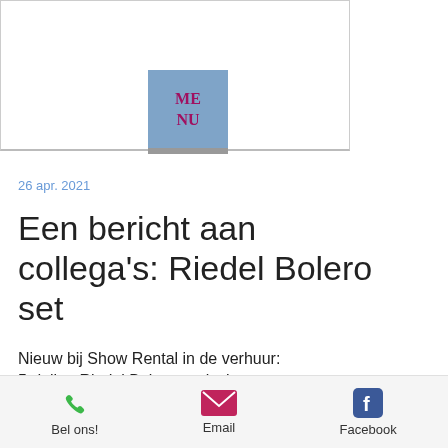[Figure (other): Website header area with a blue menu button showing 'ME NU' in purple/magenta text]
26 apr. 2021
Een bericht aan collega's: Riedel Bolero set
Nieuw bij Show Rental in de verhuur: 5-delige Riedel Bolero set incl. laadstation en headsets.
Bel ons!   Email   Facebook